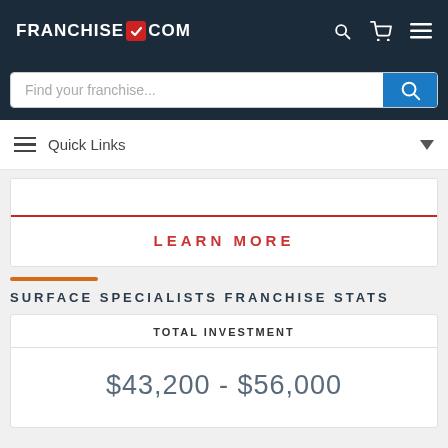FRANCHISEGRADE.COM
Find your franchise...
Quick Links
LEARN MORE
SURFACE SPECIALISTS FRANCHISE STATS
| TOTAL INVESTMENT |
| --- |
| $43,200 - $56,000 |